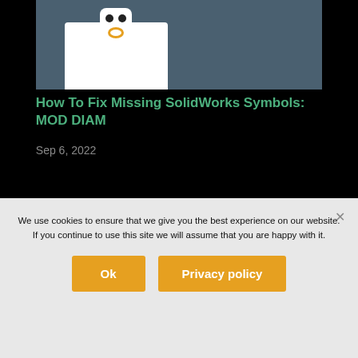[Figure (illustration): Partial screenshot of a blog article thumbnail showing a white robot/character card on a dark teal background]
How To Fix Missing SolidWorks Symbols: MOD DIAM
Sep 6, 2022
Contact
We use cookies to ensure that we give you the best experience on our website. If you continue to use this site we will assume that you are happy with it.